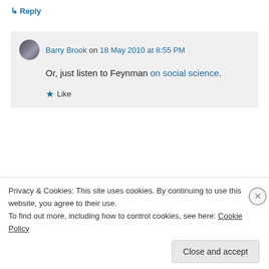↳ Reply
Barry Brook on 18 May 2010 at 8:55 PM
Or, just listen to Feynman on social science.
★ Like
↳ Reply
Privacy & Cookies: This site uses cookies. By continuing to use this website, you agree to their use.
To find out more, including how to control cookies, see here: Cookie Policy
Close and accept